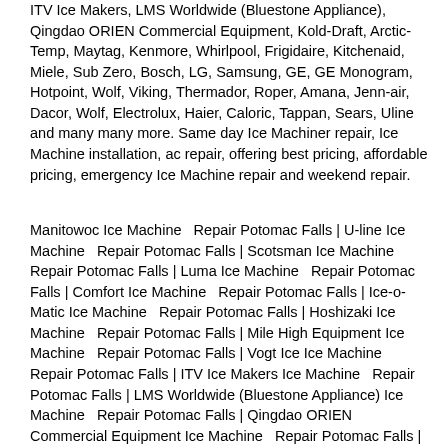ITV Ice Makers, LMS Worldwide (Bluestone Appliance), Qingdao ORIEN Commercial Equipment, Kold-Draft, Arctic-Temp, Maytag, Kenmore, Whirlpool, Frigidaire, Kitchenaid, Miele, Sub Zero, Bosch, LG, Samsung, GE, GE Monogram, Hotpoint, Wolf, Viking, Thermador, Roper, Amana, Jenn-air, Dacor, Wolf, Electrolux, Haier, Caloric, Tappan, Sears, Uline and many many more. Same day Ice Machiner repair, Ice Machine installation, ac repair, offering best pricing, affordable pricing, emergency Ice Machine repair and weekend repair.
Manitowoc Ice Machine  Repair Potomac Falls | U-line Ice Machine  Repair Potomac Falls | Scotsman Ice Machine  Repair Potomac Falls | Luma Ice Machine  Repair Potomac Falls | Comfort Ice Machine  Repair Potomac Falls | Ice-o-Matic Ice Machine  Repair Potomac Falls | Hoshizaki Ice Machine  Repair Potomac Falls | Mile High Equipment Ice Machine  Repair Potomac Falls | Vogt Ice Ice Machine  Repair Potomac Falls | ITV Ice Makers Ice Machine  Repair Potomac Falls | LMS Worldwide (Bluestone Appliance) Ice Machine  Repair Potomac Falls | Qingdao ORIEN Commercial Equipment Ice Machine  Repair Potomac Falls | Kold-Draft Ice Machine  Repair Potomac Falls | Arctic-Temp Ice Machine  Repair Potomac Falls | Frigidaire Ice Machine  Repair Potomac Falls | GE Ice Machine  Repair Potomac Falls | LG Ice Machine  Repair